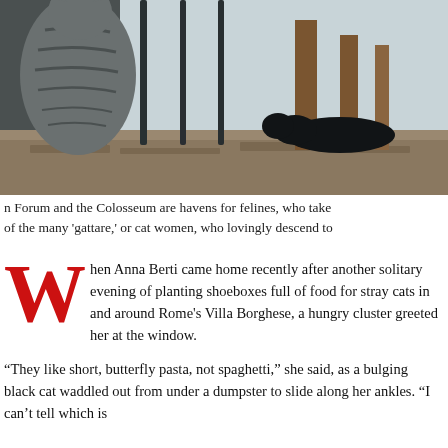[Figure (photo): A tabby cat sits on a stone ledge behind iron fence bars, with another dark cat lying on the ledge in the background. Ancient ruins and wooden posts are visible behind the fence.]
n Forum and the Colosseum are havens for felines, who take of the many 'gattare,' or cat women, who lovingly descend to
When Anna Berti came home recently after another solitary evening of planting shoeboxes full of food for stray cats in and around Rome's Villa Borghese, a hungry cluster greeted her at the window.

“They like short, butterfly pasta, not spaghetti,” she said, as a bulging black cat waddled out from under a dumpster to slide along her ankles. “I can’t tell which is